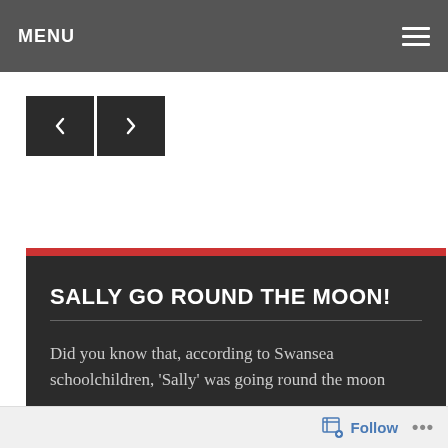MENU
[Figure (other): Navigation arrows: left arrow button and right arrow button]
SALLY GO ROUND THE MOON!
Did you know that, according to Swansea schoolchildren, 'Sally' was going round the moon
Follow ...